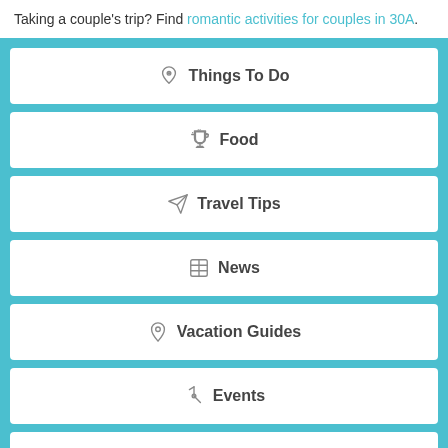Taking a couple's trip? Find romantic activities for couples in 30A.
Things To Do
Food
Travel Tips
News
Vacation Guides
Events
Sightseeing